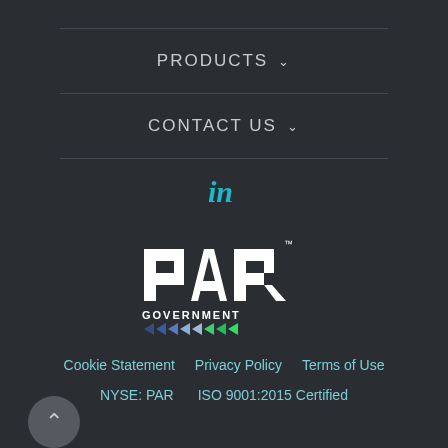PRODUCTS ˅
CONTACT US ˅
[Figure (logo): LinkedIn icon in teal/cyan]
[Figure (logo): PAR Government logo with white PAR text, GOVERNMENT below, and colored chevron arrows]
Cookie Statement   Privacy Policy   Terms of Use
NYSE: PAR   ISO 9001:2015 Certified